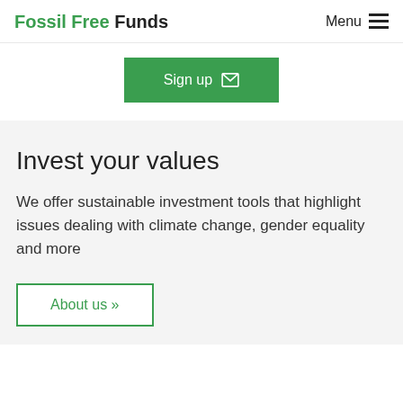Fossil Free Funds   Menu
Sign up
Invest your values
We offer sustainable investment tools that highlight issues dealing with climate change, gender equality and more
About us »